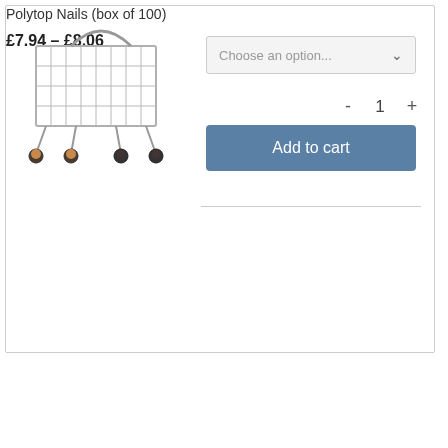[Figure (illustration): Shopping cart miniature product photo on white background]
Choose an option...
1
Add to cart
Polytop Nails (box of 100)
£7.94 – £8.06
CART
Message